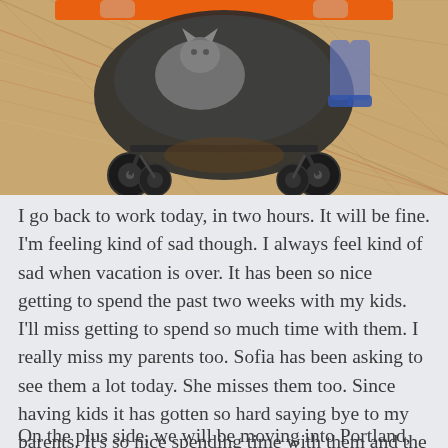[Figure (photo): Photo of a double stroller with an orange handle bar, seen from behind, on a patterned carpet floor. A cat appears to be sitting inside. Children's feet/legs are visible.]
I go back to work today, in two hours. It will be fine. I'm feeling kind of sad though. I always feel kind of sad when vacation is over. It has been so nice getting to spend the past two weeks with my kids. I'll miss getting to spend so much time with them. I really miss my parents too. Sofia has been asking to see them a lot today. She misses them too. Since having kids it has gotten so hard saying bye to my parents. It's so nice spending time with them and the distance between us is hard. And it's about to get way bigger.
On the plus side, we will be moving into Portland, and...